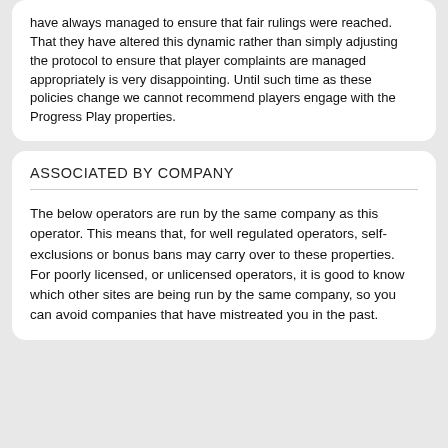have always managed to ensure that fair rulings were reached. That they have altered this dynamic rather than simply adjusting the protocol to ensure that player complaints are managed appropriately is very disappointing. Until such time as these policies change we cannot recommend players engage with the Progress Play properties.
ASSOCIATED BY COMPANY
The below operators are run by the same company as this operator. This means that, for well regulated operators, self-exclusions or bonus bans may carry over to these properties. For poorly licensed, or unlicensed operators, it is good to know which other sites are being run by the same company, so you can avoid companies that have mistreated you in the past.